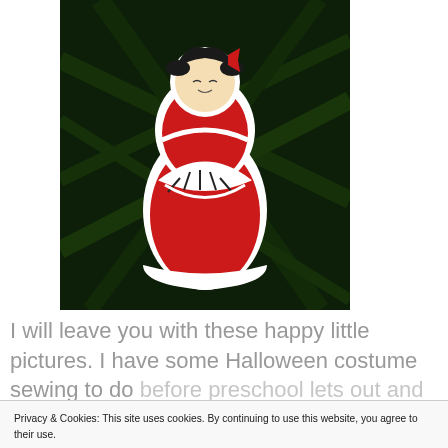[Figure (photo): A decorative fabric doll ornament shaped like a Japanese geisha/kokeshi figure in red, white and black, hanging on a Christmas tree with dark green pine branches in the background.]
I will leave you with these happy little pictures. I have some Halloween costume sewing to do before preschool lets out and nap time ends!
Privacy & Cookies: This site uses cookies. By continuing to use this website, you agree to their use.
To find out more, including how to control cookies, see here: Cookie Policy